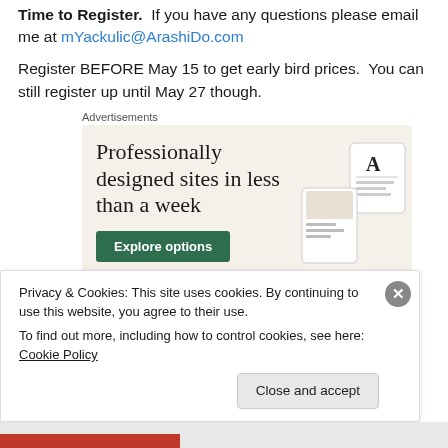Time to Register. If you have any questions please email me at mYackulic@ArashiDo.com
Register BEFORE May 15 to get early bird prices. You can still register up until May 27 though.
[Figure (infographic): Advertisement banner for a website building service. Text reads: 'Professionally designed sites in less than a week' with a green 'Explore options' button and a mock website screenshot on the right side. Labeled 'Advertisements' above.]
Privacy & Cookies: This site uses cookies. By continuing to use this website, you agree to their use.
To find out more, including how to control cookies, see here: Cookie Policy
Close and accept